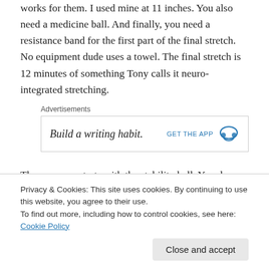works for them. I used mine at 11 inches. You also need a medicine ball. And finally, you need a resistance band for the first part of the final stretch. No equipment dude uses a towel. The final stretch is 12 minutes of something Tony calls it neuro-integrated stretching.
Advertisements
[Figure (other): Advertisement banner reading 'Build a writing habit.' with GET THE APP button and headphone icon]
The warm up starts with the stability ball. You do twists, holding the ball and bringing it side to side.
Privacy & Cookies: This site uses cookies. By continuing to use this website, you agree to their use.
To find out more, including how to control cookies, see here: Cookie Policy
side of body. Next is the foam roller. You will use the